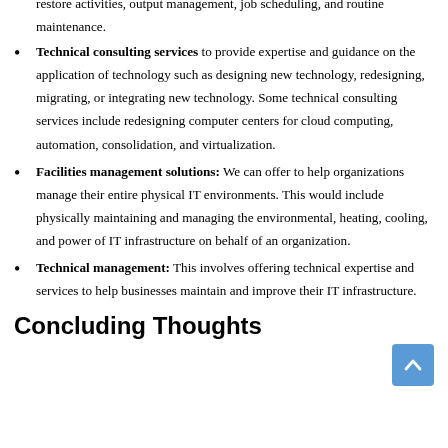restore activities, output management, job scheduling, and routine maintenance.
Technical consulting services to provide expertise and guidance on the application of technology such as designing new technology, redesigning, migrating, or integrating new technology. Some technical consulting services include redesigning computer centers for cloud computing, automation, consolidation, and virtualization.
Facilities management solutions: We can offer to help organizations manage their entire physical IT environments. This would include physically maintaining and managing the environmental, heating, cooling, and power of IT infrastructure on behalf of an organization.
Technical management: This involves offering technical expertise and services to help businesses maintain and improve their IT infrastructure.
Concluding Thoughts